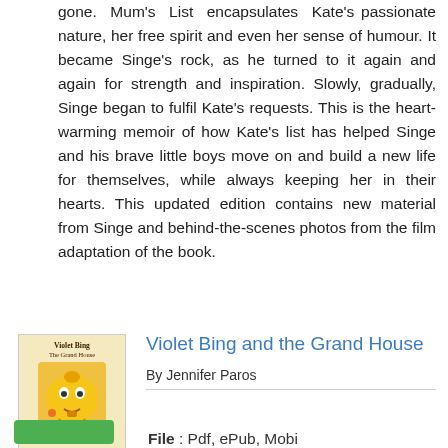gone. Mum's List encapsulates Kate's passionate nature, her free spirit and even her sense of humour. It became Singe's rock, as he turned to it again and again for strength and inspiration. Slowly, gradually, Singe began to fulfil Kate's requests. This is the heart-warming memoir of how Kate's list has helped Singe and his brave little boys move on and build a new life for themselves, while always keeping her in their hearts. This updated edition contains new material from Singe and behind-the-scenes photos from the film adaptation of the book.
[Figure (illustration): Book cover of 'Violet Bing and the Grand House' by Jennifer Paros, showing a yellow rounded character on a warm background]
Violet Bing and the Grand House
By Jennifer Paros
File : Pdf, ePub, Mobi